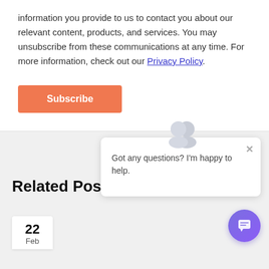information you provide to us to contact you about our relevant content, products, and services. You may unsubscribe from these communications at any time. For more information, check out our Privacy Policy.
Subscribe
Related Post
[Figure (screenshot): Chat widget popup with two user avatar icons at top, a close X button, and message 'Got any questions? I'm happy to help.']
[Figure (illustration): Purple circular chat launcher button with chat bubble icon]
22
Feb